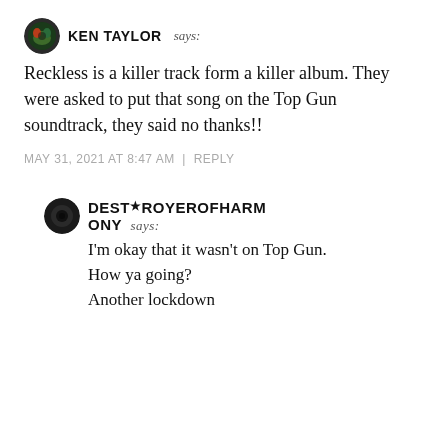KEN TAYLOR says:
Reckless is a killer track form a killer album. They were asked to put that song on the Top Gun soundtrack, they said no thanks!!
MAY 31, 2021 AT 8:47 AM | REPLY
DESTROYEROFHARMONY says:
I'm okay that it wasn't on Top Gun.
How ya going?
Another lockdown